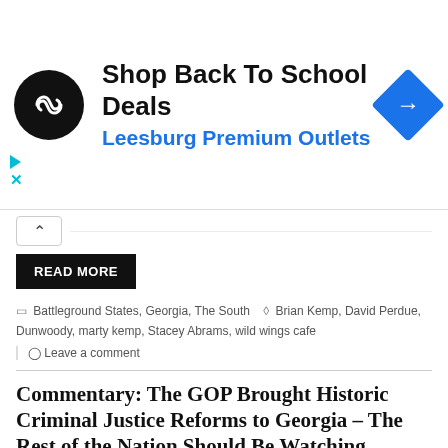[Figure (infographic): Advertisement banner: black circular logo with infinity-like arrow symbol, text 'Shop Back To School Deals' and 'Leesburg Premium Outlets' in blue, blue diamond arrow icon on right, with ad close buttons (triangle and X) on left.]
READ MORE
Battleground States, Georgia, The South   Brian Kemp, David Perdue, Dunwoody, marty kemp, Stacey Abrams, wild wings cafe
Leave a comment
Commentary: The GOP Brought Historic Criminal Justice Reforms to Georgia – The Rest of the Nation Should Be Watching
May 24, 2022   Georgia Star News Staff
[Figure (photo): Photo thumbnail of a judge's gavel on a wooden surface in dark tones.]
The GOP has been busy enacting effective legislative reform aimed at real-world problems in our great nation — something Democrats